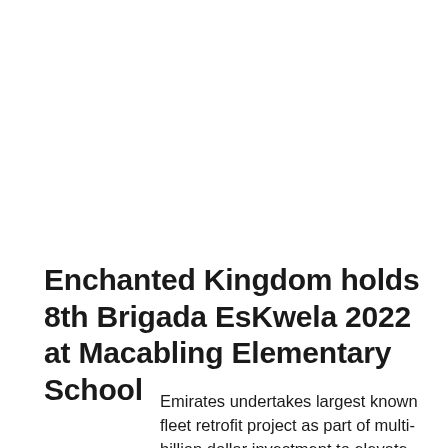Enchanted Kingdom holds 8th Brigada EsKwela 2022 at Macabling Elementary School
Emirates undertakes largest known fleet retrofit project as part of multi-billion dollar investment to elevate customer experience